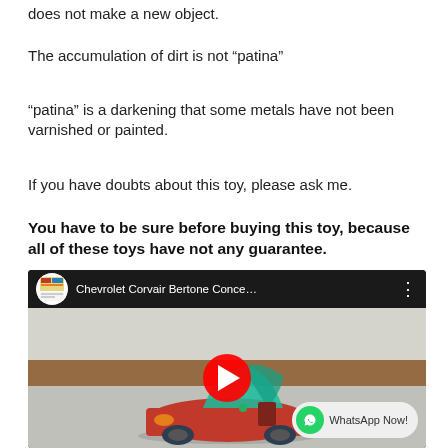does not make a new object.
The accumulation of dirt is not “patina”
“patina” is a darkening that some metals have not been varnished or painted.
If you have doubts about this toy, please ask me.
You have to be sure before buying this toy, because all of these toys have not any guarantee.
[Figure (screenshot): YouTube video thumbnail showing a vintage red toy car (Chevrolet Corvair Bertone Concept) with teal/blue canopy open, with a WhatsApp Now! badge overlay. Channel: LarryToy. Title: Chevrolet Corvair Bertone Conce...]